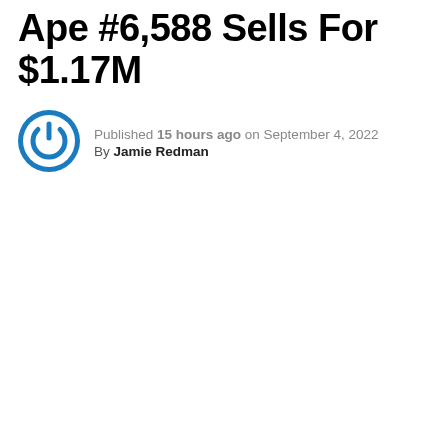Ape #6,588 Sells For $1.17M
Published 15 hours ago on September 4, 2022
By Jamie Redman